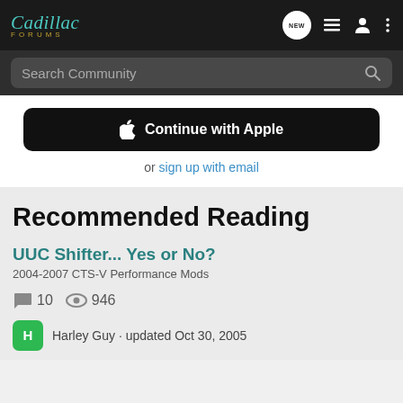Cadillac Forums
[Figure (screenshot): Continue with Apple button and sign up with email link]
Recommended Reading
UUC Shifter... Yes or No?
2004-2007 CTS-V Performance Mods
10 replies  946 views
Harley Guy · updated Oct 30, 2005